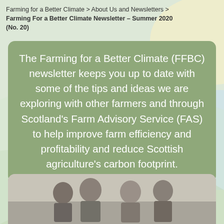Farming for a Better Climate > About Us and Newsletters > Farming For a Better Climate Newsletter – Summer 2020 (No. 20)
The Farming for a Better Climate (FFBC) newsletter keeps you up to date with some of the tips and ideas we are exploring with other farmers and through Scotland's Farm Advisory Service (FAS) to help improve farm efficiency and profitability and reduce Scottish agriculture's carbon footprint.
[Figure (photo): Photo of several people (farmers) in discussion or meeting outdoors]